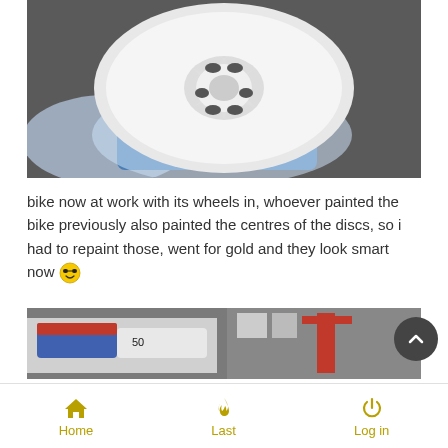[Figure (photo): A white motorcycle alloy wheel resting on bubble wrap beside a blue bucket, in a garage or workshop setting.]
bike now at work with its wheels in, whoever painted the bike previously also painted the centres of the discs, so i had to repaint those, went for gold and they look smart now 😎
[Figure (photo): Motorcycle fairings and parts in a workshop, with a red lift visible in the background.]
Home  Last  Log in